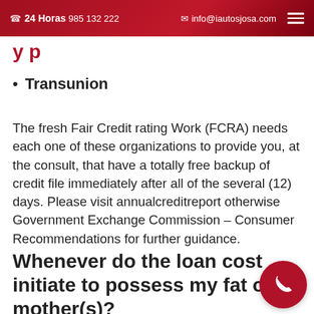24 Horas 985 132 222  info@iautosjosa.com
y p
Transunion
The fresh Fair Credit rating Work (FCRA) needs each one of these organizations to provide you, at the consult, that have a totally free backup of credit file immediately after all of the several (12) days. Please visit annualcreditreport otherwise Government Exchange Commission – Consumer Recommendations for further guidance.
Whenever do the loan cost initiate to possess my fat or mother(s)?